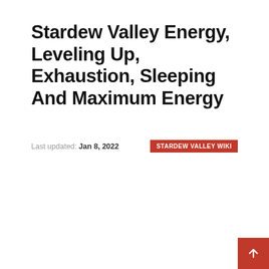Stardew Valley Energy, Leveling Up, Exhaustion, Sleeping And Maximum Energy
Last updated: Jan 8, 2022
STARDEW VALLEY WIKI